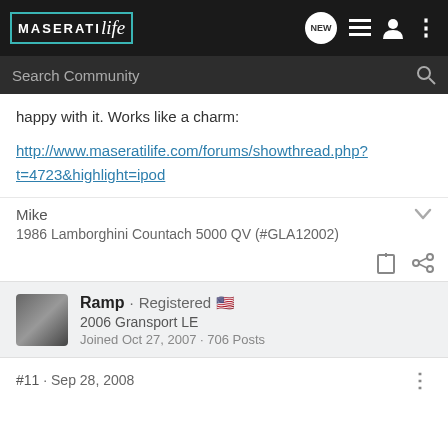MaseratiLife navigation bar with NEW, list, person, and dots icons
Search Community
happy with it. Works like a charm:
http://www.maseratilife.com/forums/showthread.php?t=4723&highlight=ipod
Mike
1986 Lamborghini Countach 5000 QV (#GLA12002)
Ramp · Registered 🇺🇸
2006 Gransport LE
Joined Oct 27, 2007 · 706 Posts
#11 · Sep 28, 2008